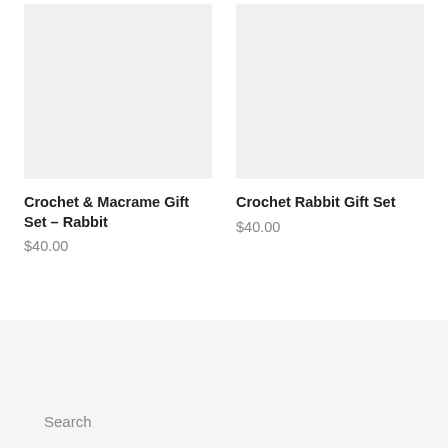[Figure (photo): Product image placeholder for Crochet & Macrame Gift Set - Rabbit, light gray background]
Crochet & Macrame Gift Set – Rabbit
$40.00
[Figure (photo): Product image placeholder for Crochet Rabbit Gift Set, light gray background]
Crochet Rabbit Gift Set
$40.00
Search